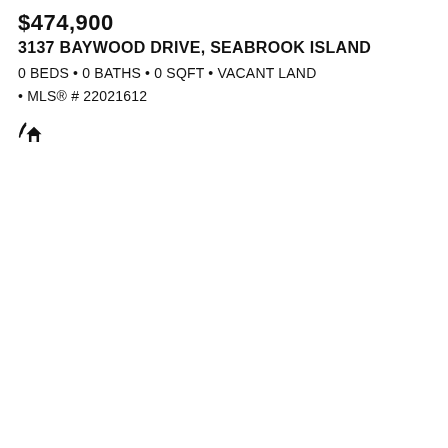$474,900
3137 BAYWOOD DRIVE, SEABROOK ISLAND
0 BEDS • 0 BATHS • 0 SQFT • VACANT LAND
• MLS® # 22021612
[Figure (illustration): Small black house/home icon with signal waves to the left]